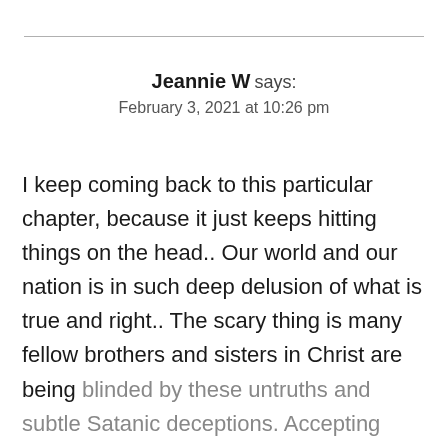Jeannie W says:
February 3, 2021 at 10:26 pm
I keep coming back to this particular chapter, because it just keeps hitting things on the head.. Our world and our nation is in such deep delusion of what is true and right.. The scary thing is many fellow brothers and sisters in Christ are being blinded by these untruths and subtle Satanic deceptions. Accepting what God